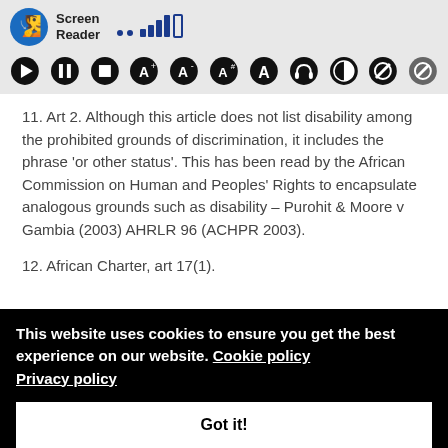[Figure (screenshot): Screen Reader accessibility toolbar with icon, signal bars, and playback/text control buttons]
11. Art 2. Although this article does not list disability among the prohibited grounds of discrimination, it includes the phrase ‘or other status’. This has been read by the African Commission on Human and Peoples’ Rights to encapsulate analogous grounds such as disability – Purohit & Moore v Gambia (2003) AHRLR 96 (ACHPR 2003).
12. African Charter, art 17(1).
This website uses cookies to ensure you get the best experience on our website. Cookie policy Privacy policy
Got it!